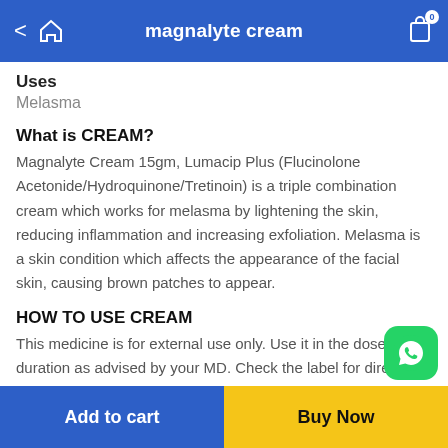magnalyte cream
Uses
Melasma
What is CREAM?
Magnalyte Cream 15gm, Lumacip Plus (Flucinolone Acetonide/Hydroquinone/Tretinoin) is a triple combination cream which works for melasma by lightening the skin, reducing inflammation and increasing exfoliation. Melasma is a skin condition which affects the appearance of the facial skin, causing brown patches to appear.
HOW TO USE CREAM
This medicine is for external use only. Use it in the dose and duration as advised by your MD. Check the label for directions before use. Clean and dry the insincere area